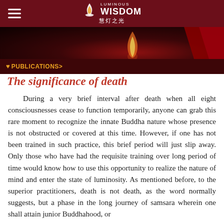LUMINOUS WISDOM 慧灯之光
[Figure (photo): Dark background hero image with candle flame and red fabric/robe in corner]
PUBLICATIONS >
The significance of death
During a very brief interval after death when all eight consciousnesses cease to function temporarily, anyone can grab this rare moment to recognize the innate Buddha nature whose presence is not obstructed or covered at this time. However, if one has not been trained in such practice, this brief period will just slip away. Only those who have had the requisite training over long period of time would know how to use this opportunity to realize the nature of mind and enter the state of luminosity. As mentioned before, to the superior practitioners, death is not death, as the word normally suggests, but a phase in the long journey of samsara wherein one shall attain junior Buddhahood, or